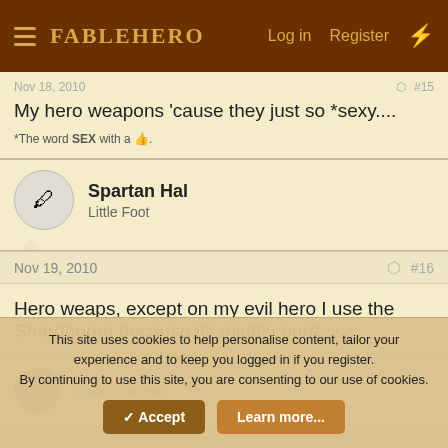FableHero — Log in   Register
My hero weapons 'cause they just so *sexy....
*The word SEX with a 👍.
Spartan Hal
Little Foot
Nov 19, 2010   #16
Hero weaps, except on my evil hero I use the Shardborne because its mighty purrty.
This site uses cookies to help personalise content, tailor your experience and to keep you logged in if you register.
By continuing to use this site, you are consenting to our use of cookies.